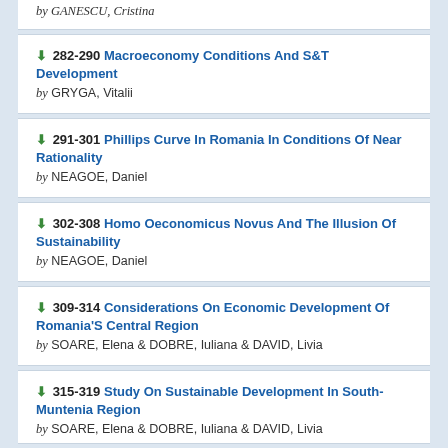by GANESCU, Cristina
282-290 Macroeconomy Conditions And S&T Development by GRYGA, Vitalii
291-301 Phillips Curve In Romania In Conditions Of Near Rationality by NEAGOE, Daniel
302-308 Homo Oeconomicus Novus And The Illusion Of Sustainability by NEAGOE, Daniel
309-314 Considerations On Economic Development Of Romania'S Central Region by SOARE, Elena & DOBRE, Iuliana & DAVID, Livia
315-319 Study On Sustainable Development In South-Muntenia Region by SOARE, Elena & DOBRE, Iuliana & DAVID, Livia